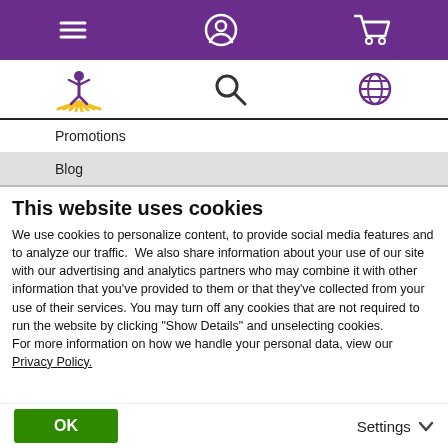[Figure (screenshot): Purple navigation top bar with hamburger menu icon, user/account icon, and shopping cart icon in white]
[Figure (screenshot): White navigation bar with a yellow-purple person/sun logo, search magnifying glass icon, and globe/language icon]
Promotions
Blog
This website uses cookies
We use cookies to personalize content, to provide social media features and to analyze our traffic.  We also share information about your use of our site with our advertising and analytics partners who may combine it with other information that you've provided to them or that they've collected from your use of their services. You may turn off any cookies that are not required to run the website by clicking “Show Details” and unselecting cookies.
For more information on how we handle your personal data, view our Privacy Policy.
OK
Settings